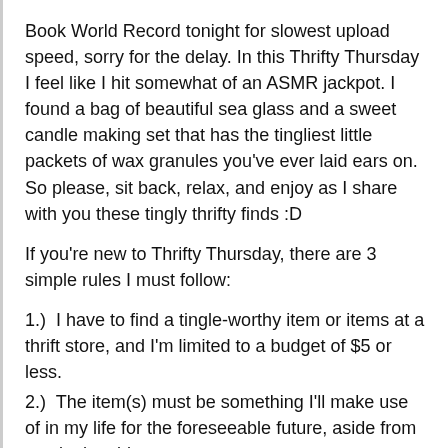Book World Record tonight for slowest upload speed, sorry for the delay. In this Thrifty Thursday I feel like I hit somewhat of an ASMR jackpot. I found a bag of beautiful sea glass and a sweet candle making set that has the tingliest little packets of wax granules you've ever laid ears on. So please, sit back, relax, and enjoy as I share with you these tingly thrifty finds :D
If you're new to Thrifty Thursday, there are 3 simple rules I must follow:
1.)  I have to find a tingle-worthy item or items at a thrift store, and I'm limited to a budget of $5 or less.
2.)  The item(s) must be something I'll make use of in my life for the foreseeable future, aside from use in the video.
3.)  Each time I visit the thrift store, I must make a